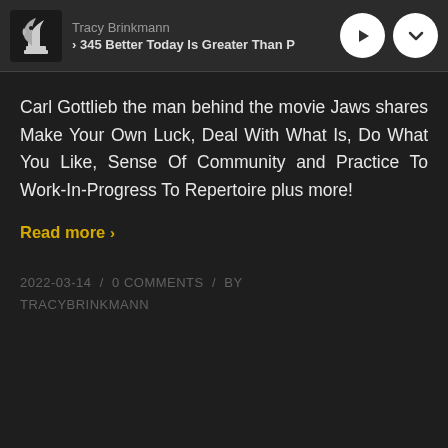Tracy Brinkmann · 345 Better Today Is Greater Than P
Carl Gottlieb the man behind the movie Jaws shares Make Your Own Luck, Deal With What Is, Do What You Like, Sense Of Community and Practice To Work-In-Progress To Repertoire plus more!
Read more >
2022-03-14 / 0 COMMENTS / BY TRACYBRINKMANN